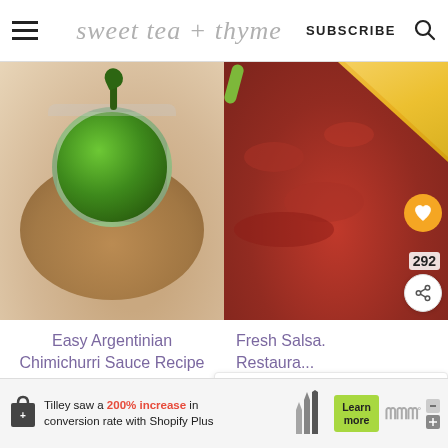sweet tea + thyme | SUBSCRIBE
[Figure (photo): Top-down view of a glass jar filled with green chimichurri sauce, placed on a wooden board with plantain chips]
[Figure (photo): Close-up of red chunky salsa with a tortilla chip dipping in, heart/save button showing 292, and share button]
Easy Argentinian Chimichurri Sauce Recipe
Fresh Salsa. Restaura...
WHAT'S NEXT → Quick & Easy Refried Beans
[Figure (photo): Advertisement: Tilley saw a 200% increase in conversion rate with Shopify Plus. Learn more button.]